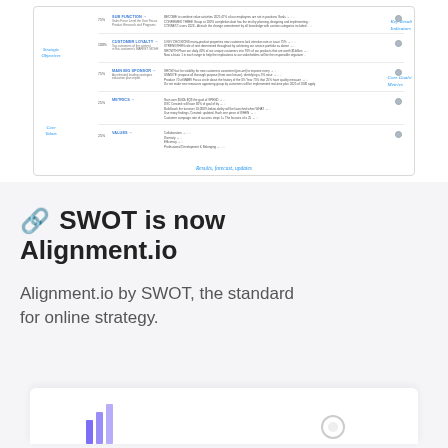[Figure (screenshot): Screenshot of a strategic planning spreadsheet tool (SWOT/Alignment.io) showing rows with Strategic Objectives, Customer Loyalty, and Core Values sections with KRI columns and status indicators. Handwritten annotations in blue label 'Key Result Indicators', 'Core Goals/Metrics', 'Strategic Objectives', 'Core Values', and 'Results, forecast, updates'.]
🔗 SWOT is now Alignment.io
Alignment.io by SWOT, the standard for online strategy.
[Figure (screenshot): Partial bottom screenshot showing beginning of another card with a purple bar chart icon on the left and a circular icon on the right.]